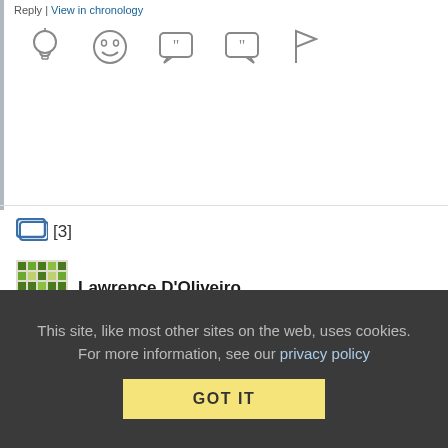Reply | View in chronology
[Figure (other): Row of action icons: lightbulb, laughing emoji, speech bubble with double quotes, speech bubble with close quotes, flag]
[Figure (other): Thread/conversation icon with [3] count]
[Figure (other): Green pixel avatar image for Lawrence D'Oliveiro]
Lawrence D'Oliveiro
November 11, 2008 at 2:24 pm
Re: Re: Leaving out the suicide part?
it sounds to me she should be tried for harras[s]ment at best.
This site, like most other sites on the web, uses cookies. For more information, see our privacy policy
GOT IT